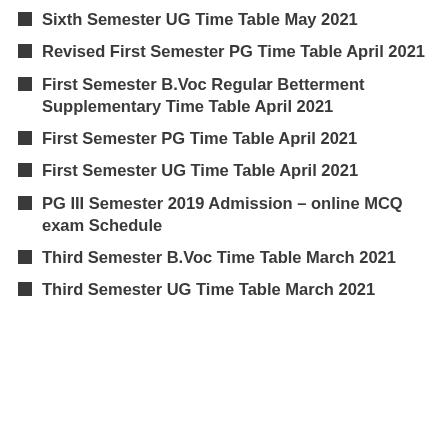Sixth Semester UG Time Table May 2021
Revised First Semester PG Time Table April 2021
First Semester B.Voc Regular Betterment Supplementary Time Table April 2021
First Semester PG Time Table April 2021
First Semester UG Time Table April 2021
PG III Semester 2019 Admission – online MCQ exam Schedule
Third Semester B.Voc Time Table March 2021
Third Semester UG Time Table March 2021